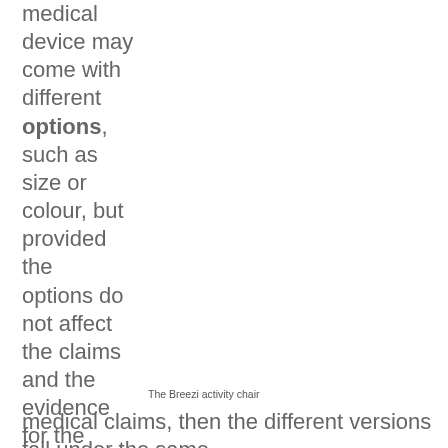medical device may come with different options, such as size or colour, but provided the options do not affect the claims and the evidence for the medical claims, then the different versions fall under the same registration
The Breezi activity chair